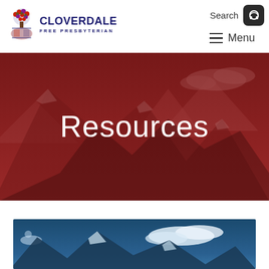Search  Menu
[Figure (logo): Cloverdale Free Presbyterian church logo with tree/crest icon and text 'CLOVERDALE FREE PRESBYTERIAN']
Resources
[Figure (photo): Mountain landscape photo with blue sky, snow-capped peaks and clouds, blue color tone, partially visible at bottom of page]